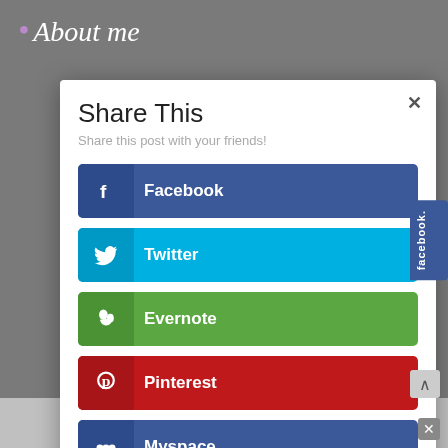About me
Share This
Share this post with your friends!
Facebook
Twitter
Evernote
Pinterest
Myspace
Blogger